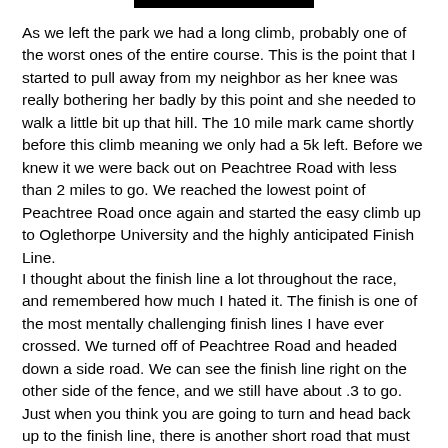As we left the park we had a long climb, probably one of the worst ones of the entire course.  This is the point that I started to pull away from my neighbor as her knee was really bothering her badly by this point and she needed to walk a little bit up that hill.  The 10 mile mark came shortly before this climb meaning we only had a 5k left.  Before we knew it we were back out on Peachtree Road with less than 2 miles to go.  We reached the lowest point of Peachtree Road once again and started the easy climb up to Oglethorpe University and the highly anticipated Finish Line.
I thought about the finish line a lot throughout the race, and remembered how much I hated it.  The finish is one of the most mentally challenging finish lines I have ever crossed.  We turned off of Peachtree Road and headed down a side road.  We can see the finish line right on the other side of the fence, and we still have about .3 to go.  Just when you think you are going to turn and head back up to the finish line, there is another short road that must be run.  As soon as making the u-turn onto the other side of the fence the hill begins.  The finish line isn't in view because of the curve, but